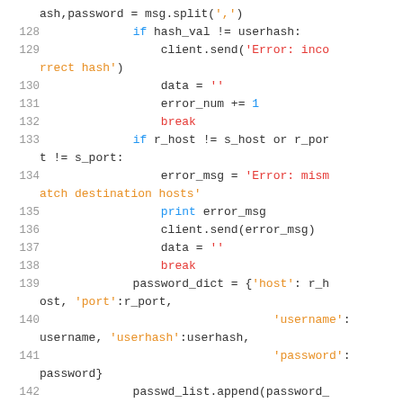Code listing lines 128-142 showing Python server authentication code